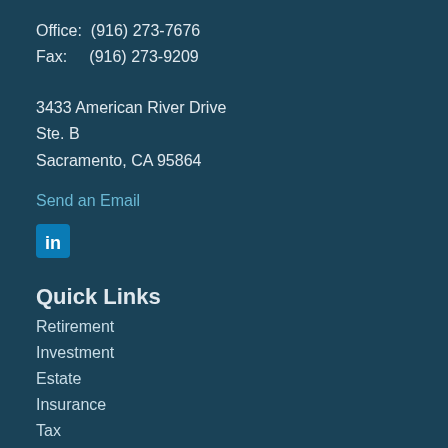Office:  (916) 273-7676
Fax:     (916) 273-9209
3433 American River Drive
Ste. B
Sacramento, CA 95864
Send an Email
[Figure (logo): LinkedIn icon - blue square with white 'in' text]
Quick Links
Retirement
Investment
Estate
Insurance
Tax
Money
Lifestyle
All Articles
All Videos